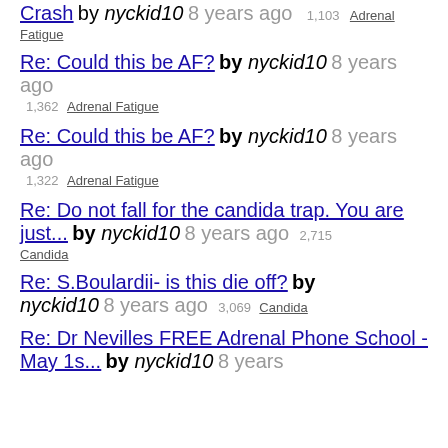Crash by nyckid10 8 years ago 1,103 Adrenal Fatigue
Re: Could this be AF? by nyckid10 8 years ago 1,362 Adrenal Fatigue
Re: Could this be AF? by nyckid10 8 years ago 1,322 Adrenal Fatigue
Re: Do not fall for the candida trap. You are just... by nyckid10 8 years ago 2,715 Candida
Re: S.Boulardii- is this die off? by nyckid10 8 years ago 3,069 Candida
Re: Dr Nevilles FREE Adrenal Phone School - May 1s... by nyckid10 8 years